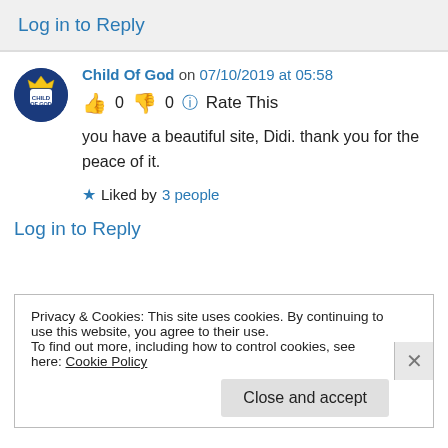Log in to Reply
Child Of God on 07/10/2019 at 05:58
👍 0 👎 0 ℹ Rate This
you have a beautiful site, Didi. thank you for the peace of it.
★ Liked by 3 people
Log in to Reply
Privacy & Cookies: This site uses cookies. By continuing to use this website, you agree to their use.
To find out more, including how to control cookies, see here: Cookie Policy
Close and accept